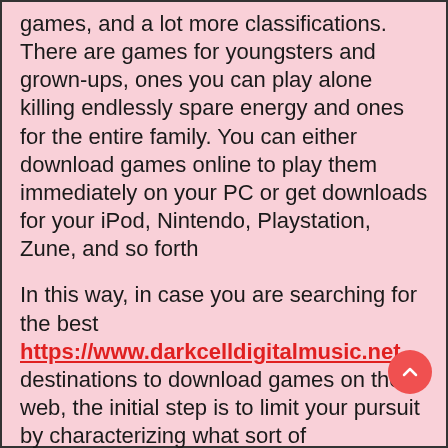games, and a lot more classifications. There are games for youngsters and grown-ups, ones you can play alone killing endlessly spare energy and ones for the entire family. You can either download games online to play them immediately on your PC or get downloads for your iPod, Nintendo, Playstation, Zune, and so forth
In this way, in case you are searching for the best https://www.darkcelldigitalmusic.net destinations to download games on the web, the initial step is to limit your pursuit by characterizing what sort of